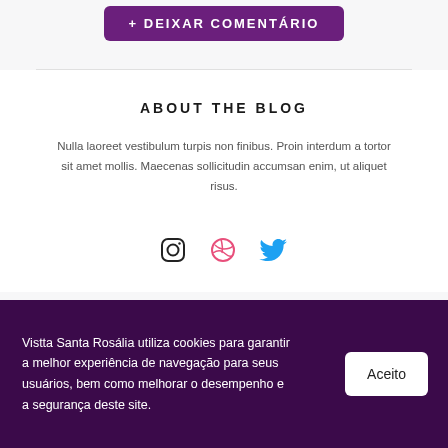[Figure (other): Purple button with uppercase text at top of page]
ABOUT THE BLOG
Nulla laoreet vestibulum turpis non finibus. Proin interdum a tortor sit amet mollis. Maecenas sollicitudin accumsan enim, ut aliquet risus.
[Figure (other): Social media icons row: Instagram, Dribbble, Twitter]
Vistta Santa Rosália utiliza cookies para garantir a melhor experiência de navegação para seus usuários, bem como melhorar o desempenho e a segurança deste site.